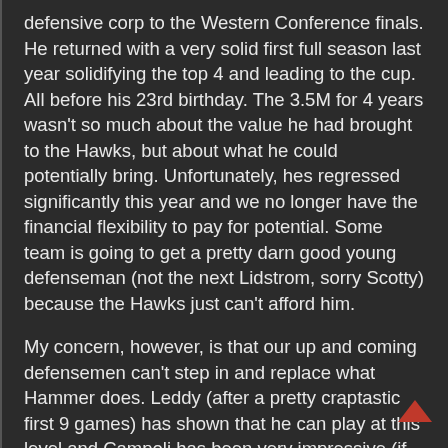defensive corp to the Western Conference finals. He returned with a very solid first full season last year solidifying the top 4 and leading to the cup. All before his 23rd birthday. The 3.5M for 4 years wasn't so much about the value he had brought to the Hawks, but about what he could potentially bring. Unfortunately, hes regressed significantly this year and we no longer have the financial flexibility to pay for potential. Some team is going to get a pretty darn good young defenseman (not the next Lidstrom, sorry Scotty) because the Hawks just can't afford him.
My concern, however, is that our up and coming defensemen can't step in and replace what Hammer does. Leddy (after a pretty craptastic first 9 games) has shown that he can play at this level and Campoli has been very impressive (if hes not